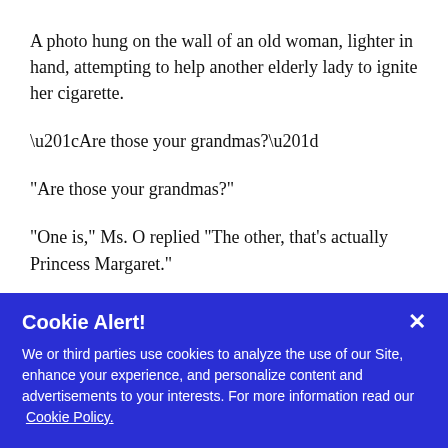A photo hung on the wall of an old woman, lighter in hand, attempting to help another elderly lady to ignite her cigarette.
“Are those your grandmas?”
“One is,” Ms. O replied “The other, that’s actually Princess Margaret.”
That evening, like so many others that summer, we sat outside on the patio and ate the most delicious Turkish cuisine. Ms. O and her family all wore jumpers. This was cold for them, while I could have
Cookie Alert!
We or third parties use cookies to analyze the use of our Site, enhance your experience, and personalize content and advertisements to your interests. For more information read our Cookie Policy.